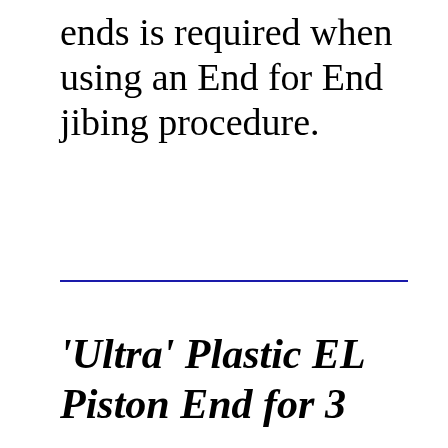ends is required when using an End for End jibing procedure.
'Ultra' Plastic EL Piston End for 3